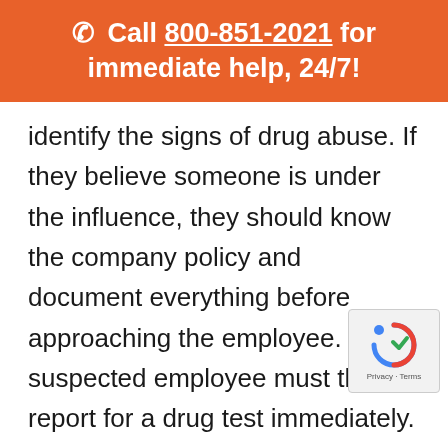Call 800-851-2021 for immediate help, 24/7!
identify the signs of drug abuse. If they believe someone is under the influence, they should know the company policy and document everything before approaching the employee. The suspected employee must then report for a drug test immediately.
Post-accident drug testing